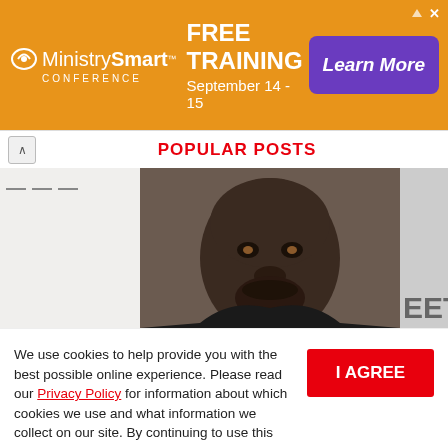[Figure (screenshot): MinistrySmart Conference ad banner with orange background. Shows MinistrySmart Conference logo on left, FREE TRAINING September 14-15 text in center, and purple Learn More button on right.]
POPULAR POSTS
[Figure (photo): Close-up photo of a Black man's face looking at the camera, with partial text 'EET' visible in background on the right side.]
We use cookies to help provide you with the best possible online experience. Please read our Privacy Policy for information about which cookies we use and what information we collect on our site. By continuing to use this site, you agree that we may store and access cookies on your device.